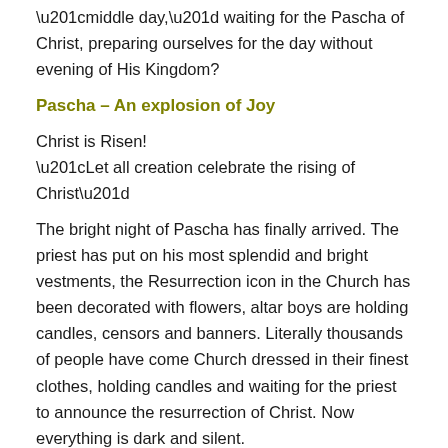“middle day,” waiting for the Pascha of Christ, preparing ourselves for the day without evening of His Kingdom?
Pascha – An explosion of Joy
Christ is Risen!
“Let all creation celebrate the rising of Christ”
The bright night of Pascha has finally arrived. The priest has put on his most splendid and bright vestments, the Resurrection icon in the Church has been decorated with flowers, altar boys are holding candles, censors and banners. Literally thousands of people have come Church dressed in their finest clothes, holding candles and waiting for the priest to announce the resurrection of Christ. Now everything is dark and silent.
The priest suddenly comes out inviting all to come and